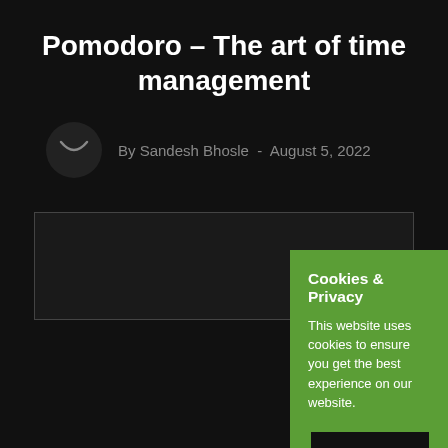Pomodoro – The art of time management
By Sandesh Bhosle  -  August 5, 2022
[Figure (screenshot): Dark placeholder image box with a thin gray border]
Cookies & Privacy
This website uses cookies to ensure you get the best experience on our website.
Accept